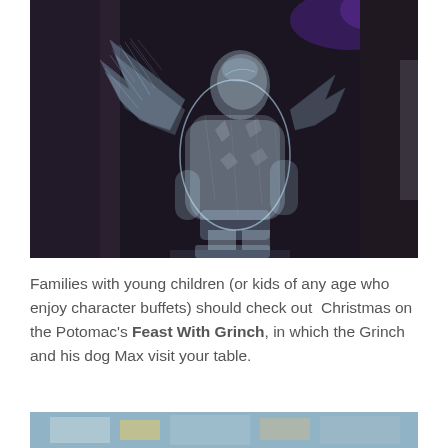[Figure (photo): A large ice sculpture of a winged figure (angel or Grinch-like character) against dark curtains with purple lighting in the background. The sculpture is clear/translucent ice.]
Families with young children (or kids of any age who enjoy character buffets) should check out Christmas on the Potomac's Feast With Grinch, in which the Grinch and his dog Max visit your table.
[Figure (photo): Partial view of another photo at the bottom of the page, showing what appears to be a restaurant or event venue interior.]